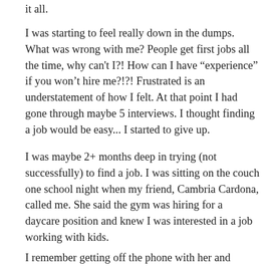it all.
I was starting to feel really down in the dumps. What was wrong with me? People get first jobs all the time, why can't I?! How can I have “experience” if you won't hire me?!?! Frustrated is an understatement of how I felt. At that point I had gone through maybe 5 interviews. I thought finding a job would be easy... I started to give up.
I was maybe 2+ months deep in trying (not successfully) to find a job. I was sitting on the couch one school night when my friend, Cambria Cardona, called me. She said the gym was hiring for a daycare position and knew I was interested in a job working with kids.
I remember getting off the phone with her and